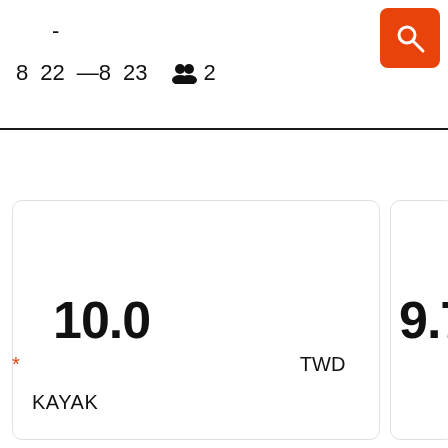- 8 22 —8 23 👥 2
10.0
9.7k
* TWD
KAYAK